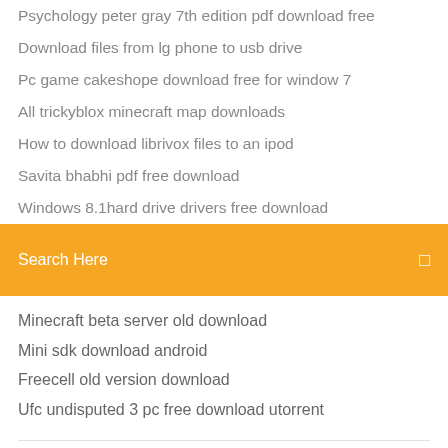Psychology peter gray 7th edition pdf download free
Download files from lg phone to usb drive
Pc game cakeshope download free for window 7
All trickyblox minecraft map downloads
How to download librivox files to an ipod
Savita bhabhi pdf free download
Windows 8.1hard drive drivers free download
Search Here
Minecraft beta server old download
Mini sdk download android
Freecell old version download
Ufc undisputed 3 pc free download utorrent
mobile software downloads to sell - 19260 mobile software downloads online Wholesalers provide popular mobile software downloads from China.